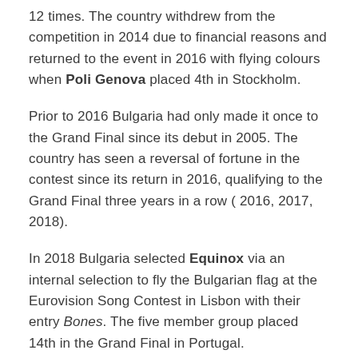12 times.  The country withdrew from the competition in 2014 due to financial reasons and returned to the event in 2016 with flying colours when Poli Genova placed 4th in Stockholm.
Prior to 2016 Bulgaria had only made it once to the Grand Final since its debut in 2005.  The country has seen a reversal of fortune in the contest since its return in 2016, qualifying to the Grand Final three years in a row ( 2016, 2017, 2018).
In 2018 Bulgaria selected Equinox via an internal selection to fly the Bulgarian flag at the Eurovision Song Contest in Lisbon with their entry Bones.  The five member group placed 14th in the Grand Final in Portugal.